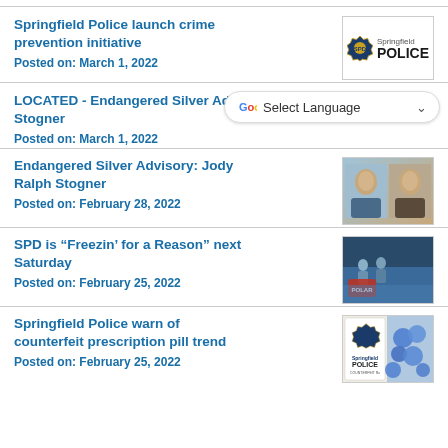Springfield Police launch crime prevention initiative
Posted on: March 1, 2022
[Figure (logo): Springfield Police department logo with badge icon and text 'Springfield POLICE']
LOCATED - Endangered Silver Advisory - Stogner
Posted on: March 1, 2022
[Figure (screenshot): Google Translate Select Language dropdown overlay]
Endangered Silver Advisory: Jody Ralph Stogner
Posted on: February 28, 2022
[Figure (photo): Two mugshot photos of Jody Ralph Stogner]
SPD is “Freezin’ for a Reason” next Saturday
Posted on: February 25, 2022
[Figure (photo): Polar plunge event photo with people in water and red logo]
Springfield Police warn of counterfeit prescription pill trend
Posted on: February 25, 2022
[Figure (photo): Springfield Police logo alongside blue counterfeit prescription pills]